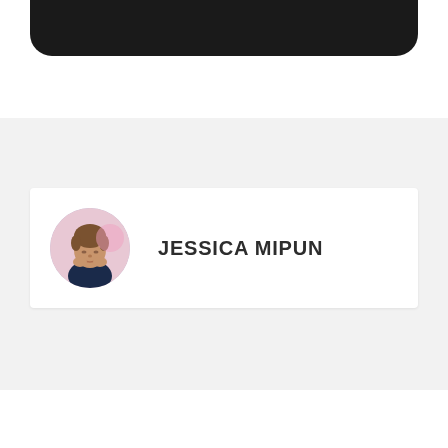[Figure (other): Dark rounded black bar at the top of the page, like a phone app header]
[Figure (photo): Circular profile photo of Jessica Mipun, a woman with short hair, hands clasped near face, pink background]
JESSICA MIPUN